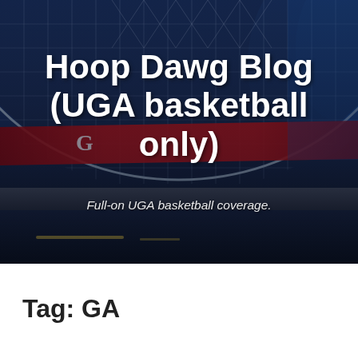[Figure (photo): Exterior photo of a modern arena building with large glass facade, dome shape, red banner strip, at dusk/night with dark blue sky. The arena appears to be the University of Georgia basketball arena.]
Hoop Dawg Blog (UGA basketball only)
Full-on UGA basketball coverage.
Tag: GA